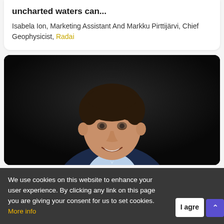uncharted waters can...
Isabela Ion, Marketing Assistant And Markku Pirttijärvi, Chief Geophysicist, Radai
[Figure (photo): Professional headshot of a man in a dark navy blazer and light blue shirt, smiling, against a dark background.]
We use cookies on this website to enhance your user experience. By clicking any link on this page you are giving your consent for us to set cookies. More info
I agre